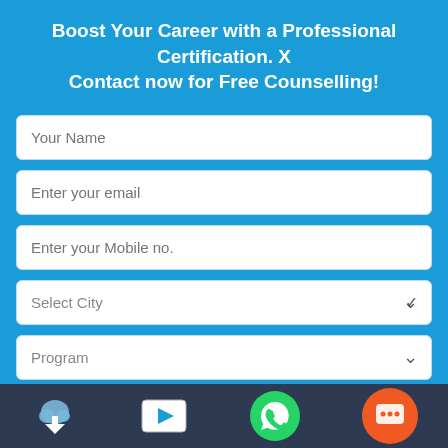Boost Your Career with a Professional Certification. X Contact now for Free Counselling!
[Figure (screenshot): Web form with fields: Your Name, Enter your email, Enter your Mobile no., Select City dropdown, Program dropdown, and Enquire Now button on a blue background]
(time)
* Last day for Early Registration – January 31, 2014
* Last Day for Standard Registration –
[Figure (infographic): Bottom navigation bar with cloud download icon, video play icon, WhatsApp icon, and orange chat bubble icon on dark blue background]